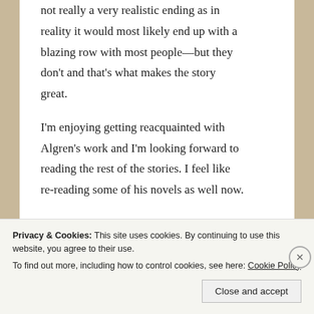not really a very realistic ending as in reality it would most likely end up with a blazing row with most people—but they don't and that's what makes the story great.

I'm enjoying getting reacquainted with Algren's work and I'm looking forward to reading the rest of the stories. I feel like re-reading some of his novels as well now.
Privacy & Cookies: This site uses cookies. By continuing to use this website, you agree to their use.
To find out more, including how to control cookies, see here: Cookie Policy
Close and accept